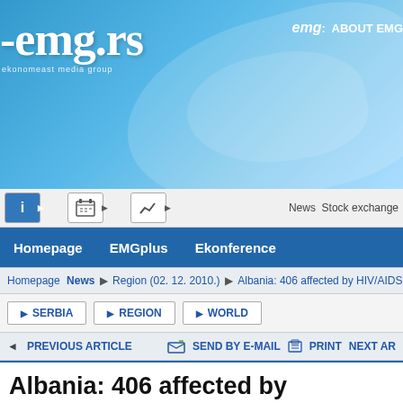[Figure (screenshot): EMG.rs website header with blue gradient background and logo]
emg.rs | emg: ABOUT EMG
[Figure (screenshot): Navigation icon bar with info, calendar, and chart icons, plus News Stock exchange label]
Homepage   EMGplus   Ekonference   News Stock exchange
Homepage › News › Region (02. 12. 2010.) › Albania: 406 affected by HIV/AIDS . Pat
▶ SERBIA   ▶ REGION   ▶ WORLD
◄ PREVIOUS ARTICLE   SEND BY E-MAIL   PRINT NEXT AR
Albania: 406 affected by HIV/AIDS . Pat about medicaments
02. December 2010. | 06:50
Source: Alsat